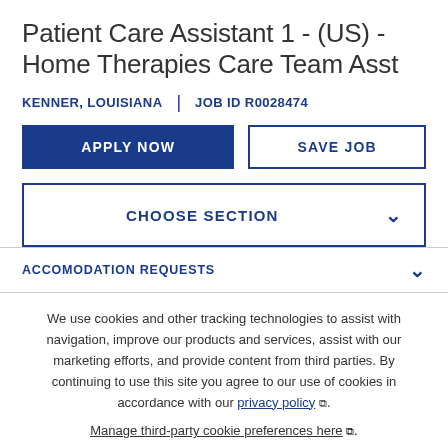Patient Care Assistant 1 - (US) - Home Therapies Care Team Asst
KENNER, LOUISIANA | JOB ID R0028474
APPLY NOW
SAVE JOB
CHOOSE SECTION
ACCOMODATION REQUESTS
We use cookies and other tracking technologies to assist with navigation, improve our products and services, assist with our marketing efforts, and provide content from third parties. By continuing to use this site you agree to our use of cookies in accordance with our privacy policy. Manage third-party cookie preferences here.
Accept